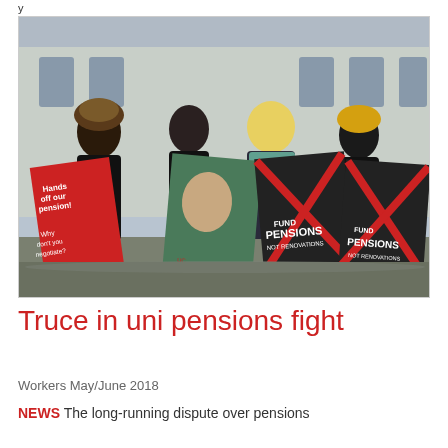y
[Figure (photo): Four people standing outdoors in winter clothing in front of a large stone building, holding protest signs including 'Hands off our pension!', 'Why don't you negotiate?', a Van Gogh themed sign, and two signs reading 'Fund Pensions Not Renovations' with a red X.]
Truce in uni pensions fight
Workers May/June 2018
NEWS The long-running dispute over pensions